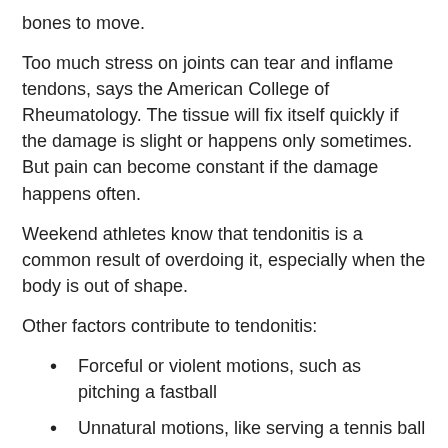bones to move.
Too much stress on joints can tear and inflame tendons, says the American College of Rheumatology. The tissue will fix itself quickly if the damage is slight or happens only sometimes. But pain can become constant if the damage happens often.
Weekend athletes know that tendonitis is a common result of overdoing it, especially when the body is out of shape.
Other factors contribute to tendonitis:
Forceful or violent motions, such as pitching a fastball
Unnatural motions, like serving a tennis ball
Poor body mechanics or technique when doing an activity like aerobics, lifting weights, or painting the ceiling